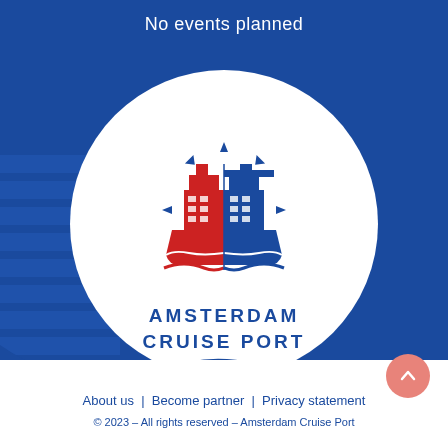No events planned
[Figure (logo): Amsterdam Cruise Port logo: a cruise ship split vertically, left half red (with building/city silhouette), right half dark blue, on stylized waves, with radiating lines around it, all within a white circle on a dark blue background. Decorative horizontal stripes on left side representing a building.]
AMSTERDAM CRUISE PORT
About us | Become partner | Privacy statement
© 2023 – All rights reserved – Amsterdam Cruise Port